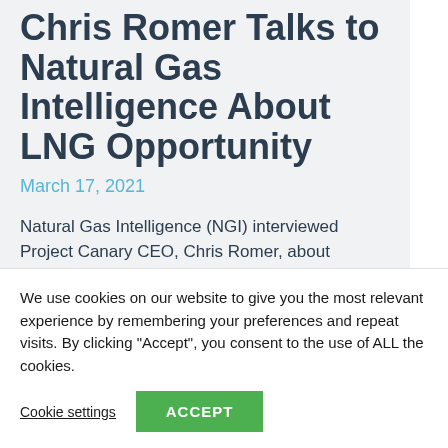Chris Romer Talks to Natural Gas Intelligence About LNG Opportunity
March 17, 2021
Natural Gas Intelligence (NGI) interviewed Project Canary CEO, Chris Romer, about discussions with U.S. liquefied
We use cookies on our website to give you the most relevant experience by remembering your preferences and repeat visits. By clicking "Accept", you consent to the use of ALL the cookies.
Cookie settings
ACCEPT